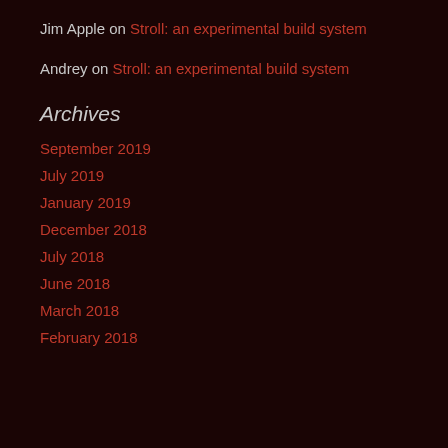Jim Apple on Stroll: an experimental build system
Andrey on Stroll: an experimental build system
Archives
September 2019
July 2019
January 2019
December 2018
July 2018
June 2018
March 2018
February 2018